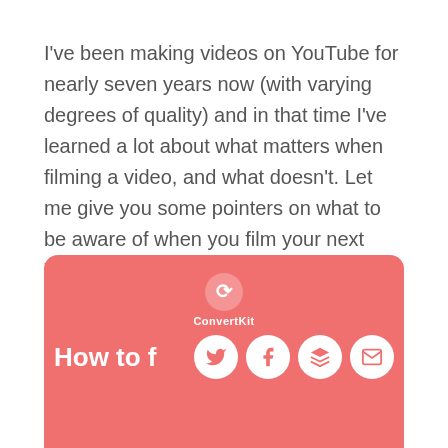I've been making videos on YouTube for nearly seven years now (with varying degrees of quality) and in that time I've learned a lot about what matters when filming a video, and what doesn't. Let me give you some pointers on what to be aware of when you film your next YouTube video so you can make sure you're focussing on the right things.
[Figure (infographic): ConvertKit branded pink/salmon box with ConvertKit logo at top center, and social share icons (Twitter, Facebook, Layers/Buffer, Email) on the right. Text 'How to f...' partially visible on the left bottom.]